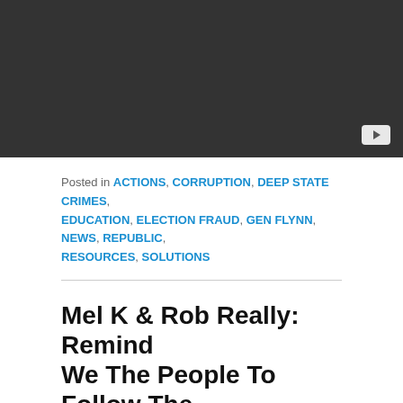[Figure (screenshot): Dark video player placeholder with YouTube play button icon in lower right corner]
Posted in ACTIONS, CORRUPTION, DEEP STATE CRIMES, EDUCATION, ELECTION FRAUD, GEN FLYNN, NEWS, REPUBLIC, RESOURCES, SOLUTIONS
Mel K & Rob Really: Remind We The People To Follow The Money & See The Lies
Posted on April 14, 2021
Mel K & Rob Really: Truth Cast On The NWO, CCP Fascist Agenda 4-11-2021
Mel & Rob discuss recent news on the pervasiveness of the New World Order, CCP, and Globally fascist agenda, achieving...